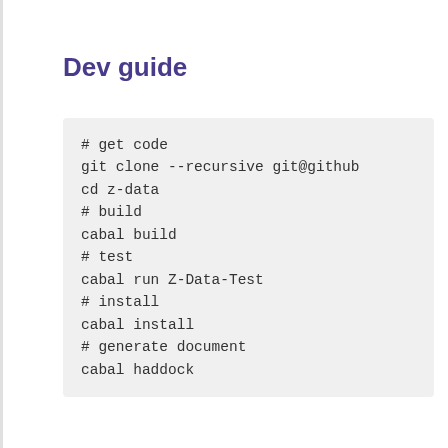Dev guide
# get code
git clone --recursive git@github
cd z-data
# build
cabal build
# test
cabal run Z-Data-Test
# install
cabal install
# generate document
cabal haddock